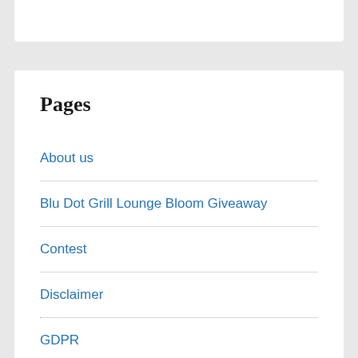Pages
About us
Blu Dot Grill Lounge Bloom Giveaway
Contest
Disclaimer
GDPR
Giveaway